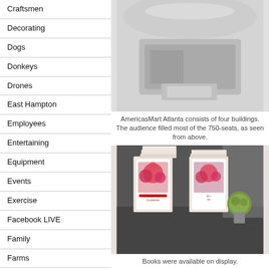Craftsmen
Decorating
Dogs
Donkeys
Drones
East Hampton
Employees
Entertaining
Equipment
Events
Exercise
Facebook LIVE
Family
Farms
Fence
Fields
Flowers
[Figure (photo): Aerial view of AmericasMart Atlanta arena with audience]
AmericasMart Atlanta consists of four buildings. The audience filled most of the 750-seats, as seen from above.
[Figure (photo): Books titled Martha's Flowers displayed on a table with floral arrangements]
Books were available on display.